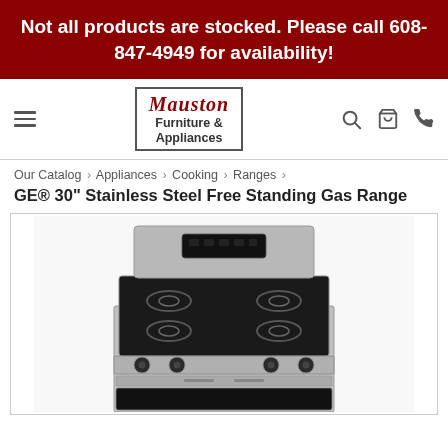Not all products are stocked. Please call 608-847-4949 for availability!
[Figure (logo): Mauston Furniture & Appliances logo with script and sans-serif text in a bordered box]
Our Catalog › Appliances › Cooking › Ranges ›
GE® 30" Stainless Steel Free Standing Gas Range
[Figure (photo): Photo of a GE 30-inch stainless steel free standing gas range with 4 burners, control knobs, and oven window visible from an angled top view]